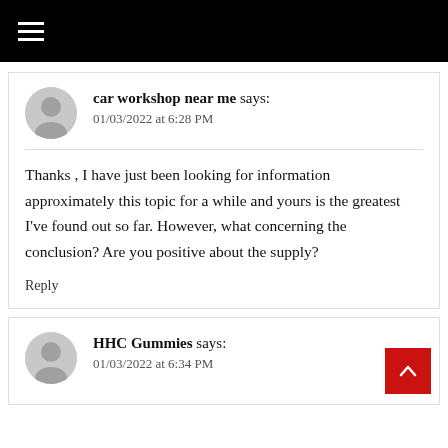≡ (hamburger menu)
car workshop near me says:
01/03/2022 at 6:28 PM
Thanks , I have just been looking for information approximately this topic for a while and yours is the greatest I've found out so far. However, what concerning the conclusion? Are you positive about the supply?
Reply
HHC Gummies says:
01/03/2022 at 6:34 PM